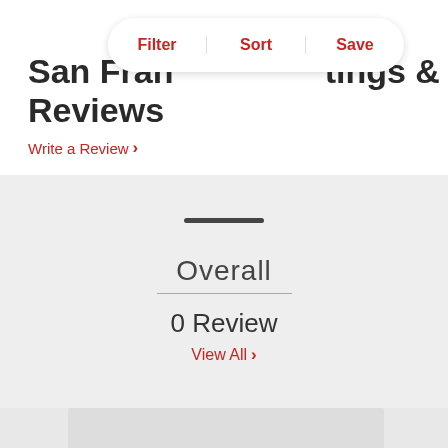[Figure (screenshot): Filter/Sort/Save toolbar with three options separated by vertical dividers, styled as a pill-shaped white bar with rounded corners]
San Fran...tings & Reviews
Write a Review >
Overall
0 Review
View All >